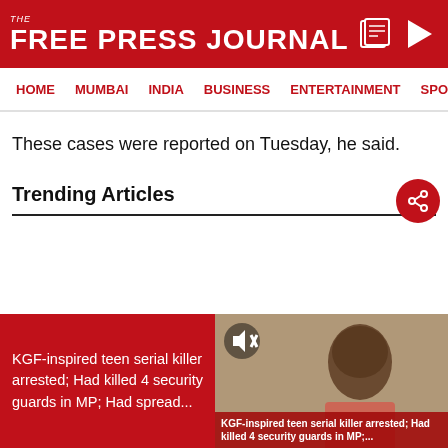THE FREE PRESS JOURNAL
HOME   MUMBAI   INDIA   BUSINESS   ENTERTAINMENT   SPO
These cases were reported on Tuesday, he said.
Trending Articles
KGF-inspired teen serial killer arrested; Had killed 4 security guards in MP; Had spread...
KGF-inspired teen serial killer arrested; Had killed 4 security guards in MP;...